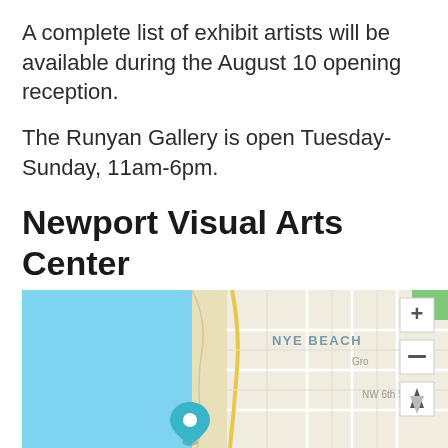A complete list of exhibit artists will be available during the August 10 opening reception.
The Runyan Gallery is open Tuesday-Sunday, 11am-6pm.
Newport Visual Arts Center
777 NW Beach Drive, Newport, OR 97365 - Get Directions
[Figure (map): Map showing Newport, OR area including Nye Beach neighborhood with a location pin marker and zoom controls (+, -, compass).]